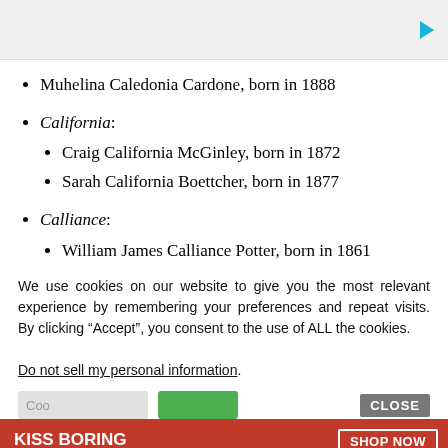[Figure (other): Advertisement box with a play/arrow icon in teal color on the right side, light grey background]
Muhelina Caledonia Cardone, born in 1888
California: (sub-list) Craig California McGinley, born in 1872; Sarah California Boettcher, born in 1877
Calliance: (sub-list) William James Calliance Potter, born in 1861
We use cookies on our website to give you the most relevant experience by remembering your preferences and repeat visits. By clicking “Accept”, you consent to the use of ALL the cookies.
Do not sell my personal information.
[Figure (other): Cookie consent buttons row: greyed input box labeled 'Coo...', green accept button, and a grey CLOSE button on the right]
[Figure (other): Macy's advertisement banner: red background with 'KISS BORING LIPS GOODBYE' text in white, SHOP NOW button, and macy's star logo]